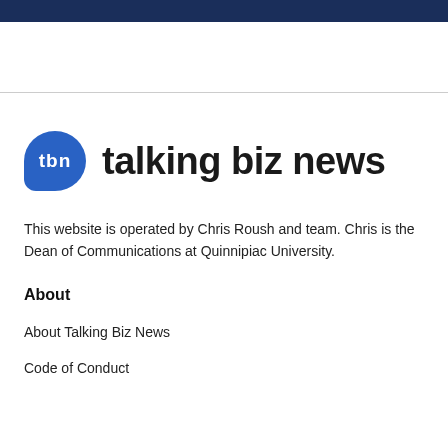[Figure (logo): Talking Biz News logo: blue rounded speech-bubble shape with 'tbn' in white text, followed by 'talking biz news' in large dark sans-serif text]
This website is operated by Chris Roush and team. Chris is the Dean of Communications at Quinnipiac University.
About
About Talking Biz News
Code of Conduct